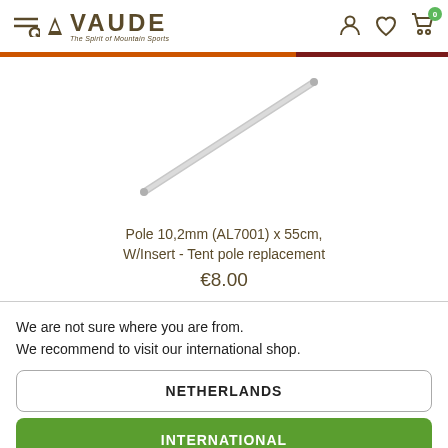VAUDE - The Spirit of Mountain Sports
[Figure (photo): A long thin silver aluminum tent pole rod shown diagonally against a white background]
Pole 10,2mm (AL7001) x 55cm, W/Insert - Tent pole replacement
€8.00
We are not sure where you are from. We recommend to visit our international shop.
NETHERLANDS
INTERNATIONAL